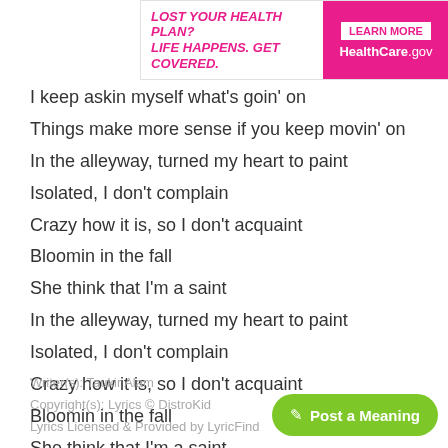[Figure (other): Advertisement banner: LOST YOUR HEALTH PLAN? LIFE HAPPENS. GET COVERED. LEARN MORE HealthCare.gov]
I keep askin myself what's goin' on
Things make more sense if you keep movin' on
In the alleyway, turned my heart to paint
Isolated, I don't complain
Crazy how it is, so I don't acquaint
Bloomin in the fall
She think that I'm a saint
In the alleyway, turned my heart to paint
Isolated, I don't complain
Crazy how it is, so I don't acquaint
Bloomin in the fall
She think that I'm a saint
Writer(s): Taukir Alam
Copyright(s): Lyrics © DistroKid
Lyrics Licensed & Provided by LyricFind